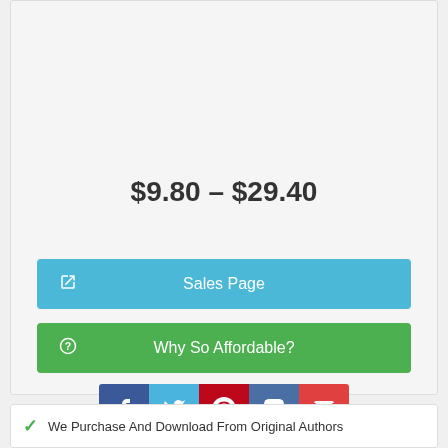$9.80 – $29.40
Sales Page
Why So Affordable?
[Figure (other): Social share buttons: Facebook, Twitter, Pinterest, VK, Email]
We Purchase And Download From Original Authors